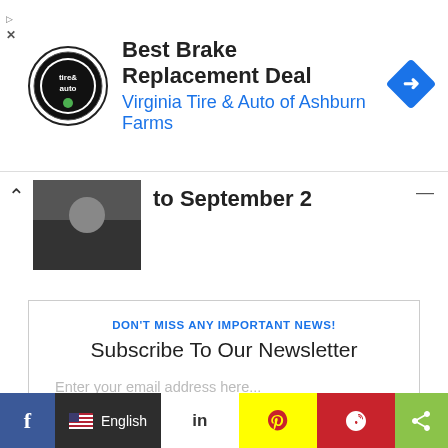[Figure (infographic): Advertisement banner for Virginia Tire & Auto of Ashburn Farms with logo, title 'Best Brake Replacement Deal', and a blue navigation arrow icon]
to September 2
[Figure (photo): Small thumbnail image showing hands, partial article image]
DON'T MISS ANY IMPORTANT NEWS!
Subscribe To Our Newsletter
Enter your email address here...
SUBSCRIBE NOW
We promise not to spam you. Unsubscribe at any time.
f  English  in  [snapchat]  [pinterest]  [share]